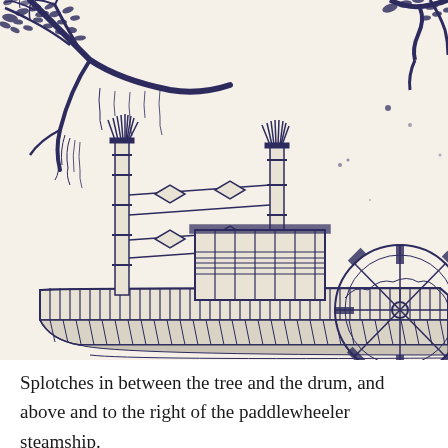[Figure (illustration): A pen-and-ink drawing showing tree branches with leaves in the upper left and upper right corners, and below a paddlewheeler steamship with two tall smokestacks decorated with feather-like tops, cross-beams connecting the stacks, a cabin/wheelhouse structure, and the large paddle wheel visible on the right side. The drawing is in dark blue/navy ink on cream-colored paper. Small splotches/dots are visible between the tree and the drum area and above and to the right of the paddlewheeler.]
Splotches in between the tree and the drum, and above and to the right of the paddlewheeler steamship.